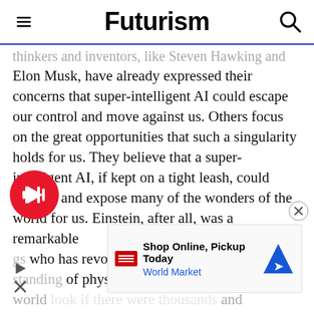Futurism
thinkers and inventors, like Steven Hawking and Elon Musk, have already expressed their concerns that super-intelligent AI could escape our control and move against us. Others focus on the great opportunities that such a singularity holds for us. They believe that a super-intelligent AI, if kept on a tight leash, could analyze and expose many of the wonders of the world for us. Einstein, after all, was a remarkable [person] who has revolutionized our [under]standing of physics. Well, how would the world [look if there were thousands] and millio[ns like him? Super-intelligent AI could sol]very probl[em...]